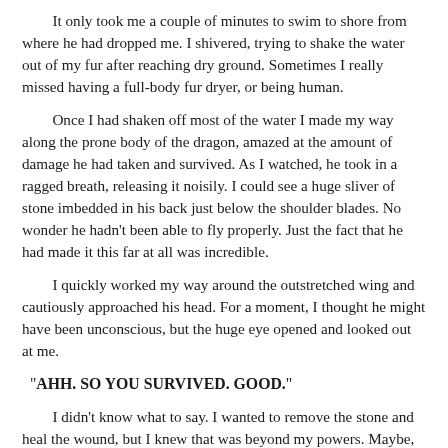It only took me a couple of minutes to swim to shore from where he had dropped me. I shivered, trying to shake the water out of my fur after reaching dry ground. Sometimes I really missed having a full-body fur dryer, or being human.
Once I had shaken off most of the water I made my way along the prone body of the dragon, amazed at the amount of damage he had taken and survived. As I watched, he took in a ragged breath, releasing it noisily. I could see a huge sliver of stone imbedded in his back just below the shoulder blades. No wonder he hadn't been able to fly properly. Just the fact that he had made it this far at all was incredible.
I quickly worked my way around the outstretched wing and cautiously approached his head. For a moment, I thought he might have been unconscious, but the huge eye opened and looked out at me.
"AHH. SO YOU SURVIVED. GOOD."
I didn't know what to say. I wanted to remove the stone and heal the wound, but I knew that was beyond my powers. Maybe, if I had Nanuk's help and was able to tap her power I might be able to do something, but not now, not like this.